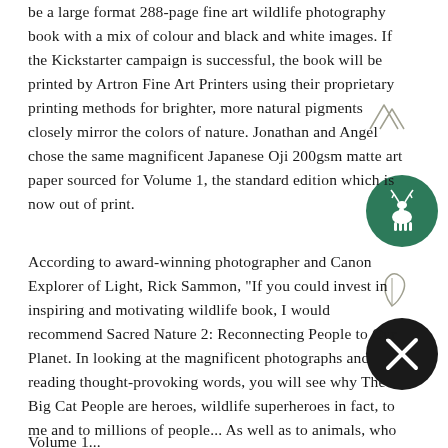be a large format 288-page fine art wildlife photography book with a mix of colour and black and white images. If the Kickstarter campaign is successful, the book will be printed by Artron Fine Art Printers using their proprietary printing methods for brighter, more natural pigments closely mirror the colors of nature. Jonathan and Angel chose the same magnificent Japanese Oji 200gsm matte art paper sourced for Volume 1, the standard edition which is now out of print.
According to award-winning photographer and Canon Explorer of Light, Rick Sammon, "If you could invest in inspiring and motivating wildlife book, I would recommend Sacred Nature 2: Reconnecting People to Our Planet. In looking at the magnificent photographs and reading thought-provoking words, you will see why The Big Cat People are heroes, wildlife superheroes in fact, to me and to millions of people... As well as to animals, who need superheroes to help them survive in our ever-changing world."
Volume 1...